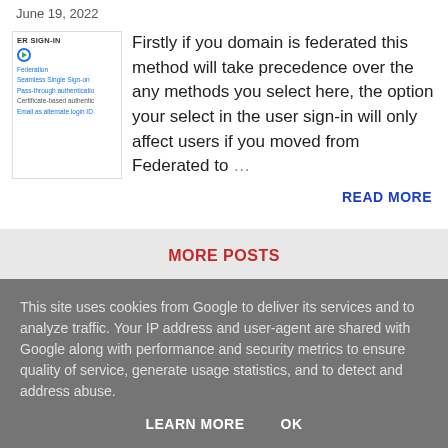June 19, 2022
[Figure (screenshot): Azure AD User Sign-In options screenshot showing Federation, Seamless Single Sign-on, Pass-through authentication, Certificate-based authentication, Email as alternate login ID]
Firstly if you domain is federated this method will take precedence over the any methods you select here, the option your select in the user sign-in will only affect users if you moved from Federated to ...
READ MORE
MORE POSTS
This site uses cookies from Google to deliver its services and to analyze traffic. Your IP address and user-agent are shared with Google along with performance and security metrics to ensure quality of service, generate usage statistics, and to detect and address abuse.
LEARN MORE   OK